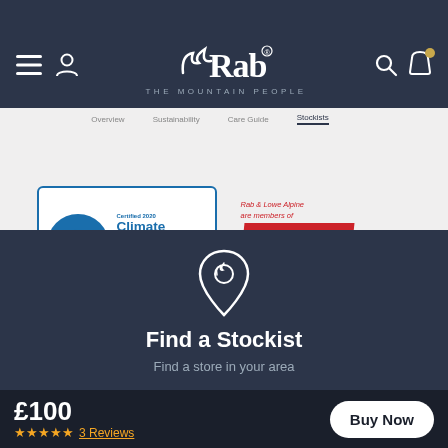[Figure (logo): Rab - The Mountain People navigation bar with hamburger menu, user icon, Rab logo with mountain/wing icon, search icon, and cart icon with notification badge]
[Figure (logo): Climate Neutral Company certified 2020 by South Pole badge - blue border with penguin logo]
[Figure (logo): Fair Wear badge - Rab & Lowe Alpine are members of FAIR WEAR fairwear.org]
[Figure (illustration): Location pin icon with Rab logo inside, white on dark blue background]
Find a Stockist
Find a store in your area
£100
★★★★★ 3 Reviews